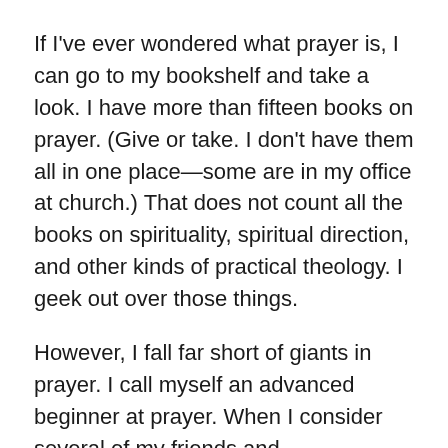If I've ever wondered what prayer is, I can go to my bookshelf and take a look. I have more than fifteen books on prayer. (Give or take. I don't have them all in one place—some are in my office at church.) That does not count all the books on spirituality, spiritual direction, and other kinds of practical theology. I geek out over those things.
However, I fall far short of giants in prayer. I call myself an advanced beginner at prayer. When I consider several of my friends and acquaintances, they are real people of prayer. I stand in awe of several people who have written books about prayer, like Father Nouwen.
His life exemplified prayer. He gives a brief declaration of what goes on when we pray: “When you pray, you open yourself to the influence of the Power which has revealed itself as love. That Power gives you...